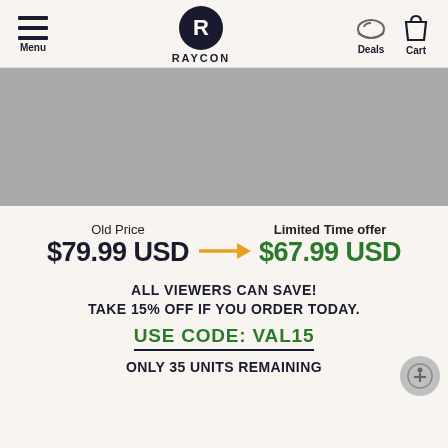Menu | RAYCON | Deals | Cart
[Figure (photo): Product image placeholder - grey rectangle]
Old Price $79.99 USD → Limited Time offer $67.99 USD
ALL VIEWERS CAN SAVE!
TAKE 15% OFF IF YOU ORDER TODAY.
USE CODE: VAL15
ONLY 35 UNITS REMAINING